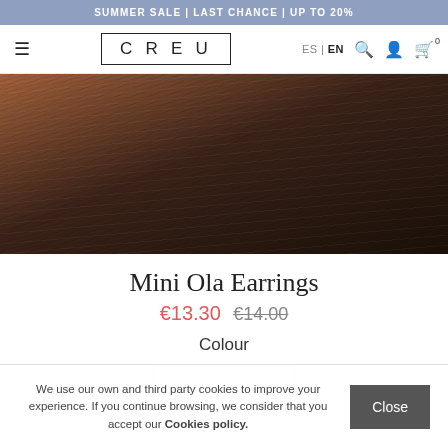SUMMER SALE | LAST CHANCE | UP TO 20%
[Figure (screenshot): E-commerce website navigation bar with hamburger menu, CREU logo in a rectangle border, language switcher ES|EN, search icon, user icon, and cart icon with 0 items]
[Figure (photo): Close-up photo of dark brown hair texture, showing earring on a person's ear area]
Mini Ola Earrings
€13.30 €14.00
Colour
We use our own and third party cookies to improve your experience. If you continue browsing, we consider that you accept our Cookies policy.